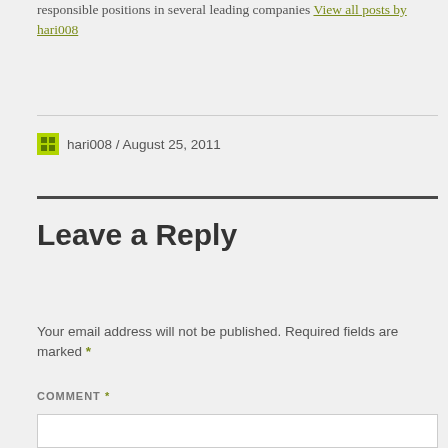responsible positions in several leading companies View all posts by hari008
hari008 / August 25, 2011
Leave a Reply
Your email address will not be published. Required fields are marked *
COMMENT *